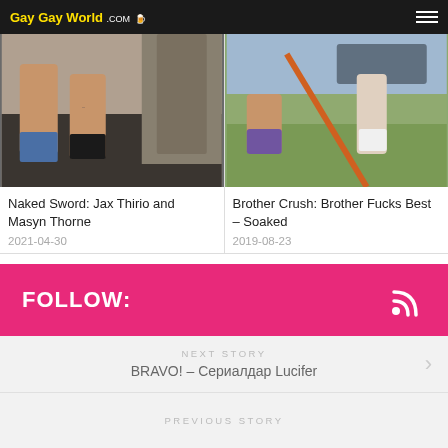Gay Gay World .COM
[Figure (photo): Two shirtless muscular men posing indoors]
Naked Sword: Jax Thirio and Masyn Thorne
2021-04-30
[Figure (photo): Outdoor scene with person in purple shorts and another in white shorts with an orange stick]
Brother Crush: Brother Fucks Best – Soaked
2019-08-23
FOLLOW:
NEXT STORY
BRAVO! – Сериалдар Lucifer
PREVIOUS STORY